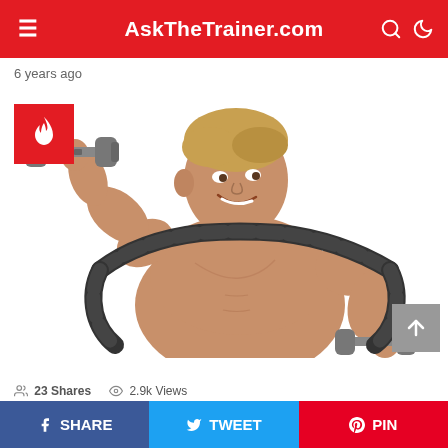AskTheTrainer.com
6 years ago
[Figure (photo): A muscular shirtless man holding dumbbells and using a padded resistance arm device around his shoulders and arms, smiling, on a white background]
23 Shares   2.9k Views